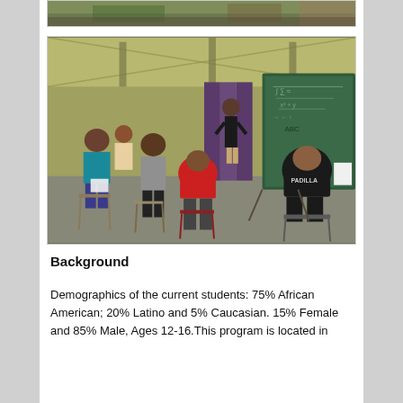[Figure (photo): Partial top strip of a photo showing colorful outdoor scene, cropped at top of page]
[Figure (photo): Students sitting in chairs arranged in a circle/group in an open warehouse-like space with high ceilings. An instructor stands near a large green chalkboard with writing on it. People of various ages seated, one person in red shirt visible from behind, another wearing a shirt that says PADILLA.]
Background
Demographics of the current students: 75% African American; 20% Latino and 5% Caucasian. 15% Female and 85% Male, Ages 12-16.This program is located in